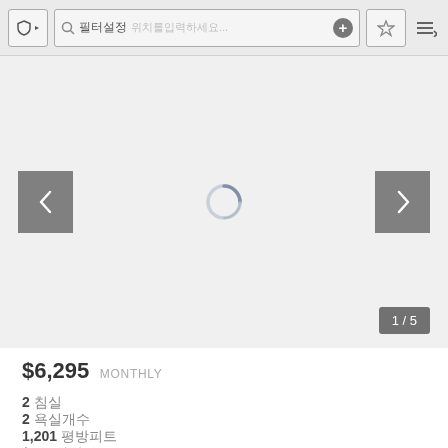toolbar with shield icon, search bar with CJK text, plus button, star button, sort button
[Figure (screenshot): Property image carousel with loading spinner, left and right navigation arrows, and page indicator showing 1 of 5]
$6,295 MONTHLY
2 침실
2 욕실개수
1,201 평방피트
$5 주차장
애완동물